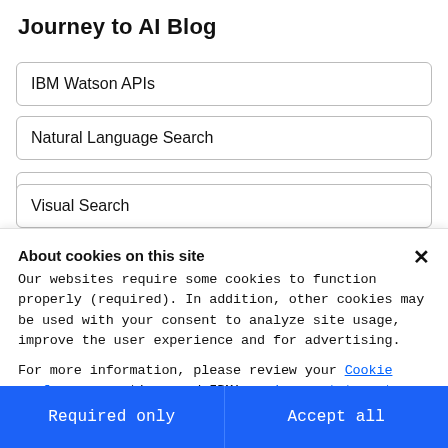Journey to AI Blog
IBM Watson APIs
Natural Language Search
Visual Browse
Visual Search
About cookies on this site
Our websites require some cookies to function properly (required). In addition, other cookies may be used with your consent to analyze site usage, improve the user experience and for advertising.

For more information, please review your Cookie preferences options and IBM's privacy statement.
Required only
Accept all